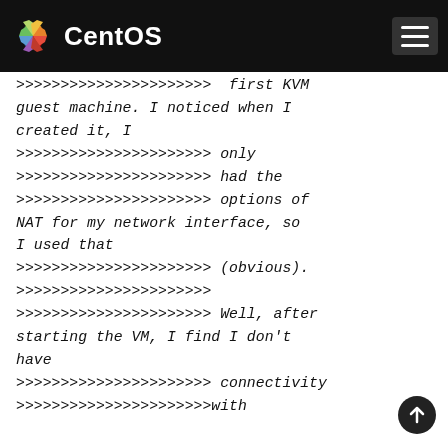CentOS
>>>>>>>>>>>>>>>>>>>>>> first KVM guest machine. I noticed when I created it, I
>>>>>>>>>>>>>>>>>>>> only
>>>>>>>>>>>>>>>>>>>> had the
>>>>>>>>>>>>>>>>>>>> options of NAT for my network interface, so I used that
>>>>>>>>>>>>>>>>>>>> (obvious).
>>>>>>>>>>>>>>>>>>>>
>>>>>>>>>>>>>>>>>>>> Well, after starting the VM, I find I don't have
>>>>>>>>>>>>>>>>>>>> connectivity
>>>>>>>>>>>>>>>>>>>>with